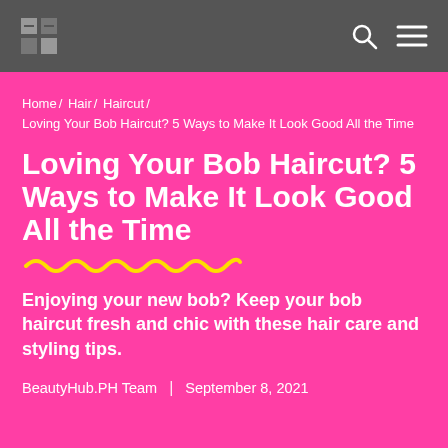BeautyHub.PH logo, search icon, menu icon
Home / Hair / Haircut / Loving Your Bob Haircut? 5 Ways to Make It Look Good All the Time
Loving Your Bob Haircut? 5 Ways to Make It Look Good All the Time
Enjoying your new bob? Keep your bob haircut fresh and chic with these hair care and styling tips.
BeautyHub.PH Team | September 8, 2021